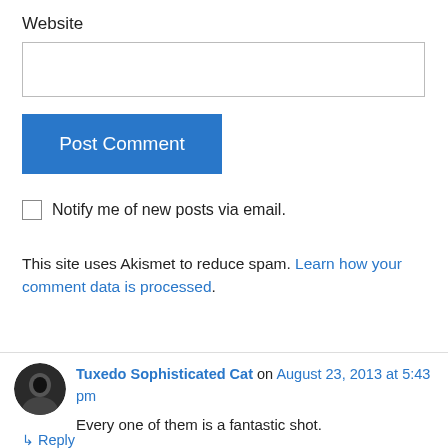Website
Post Comment
Notify me of new posts via email.
This site uses Akismet to reduce spam. Learn how your comment data is processed.
Tuxedo Sophisticated Cat on August 23, 2013 at 5:43 pm
Every one of them is a fantastic shot.
Reply